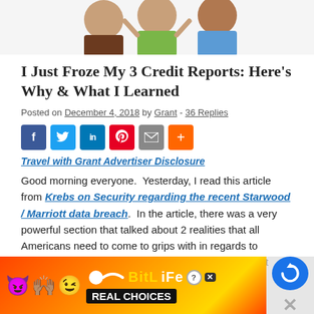[Figure (photo): Cropped image of three people (a woman in brown jacket, a man in green shirt, a man in blue shirt) against a white background, partially visible at top of page.]
I Just Froze My 3 Credit Reports: Here’s Why & What I Learned
Posted on December 4, 2018 by Grant - 36 Replies
[Figure (infographic): Social sharing buttons row: Facebook (blue), Twitter (light blue), LinkedIn (dark blue), Pinterest (red), Email (gray), Plus/More (orange)]
Travel with Grant Advertiser Disclosure
Good morning everyone.  Yesterday, I read this article from Krebs on Security regarding the recent Starwood / Marriott data breach.  In the article, there was a very powerful section that talked about 2 realities that all Americans need to come to grips with in regards to privacy, data security, and our powerlessness when it comes to securing our data.  He...
[Figure (advertisement): BitLife mobile game advertisement with colorful emoji characters and 'REAL CHOICES' text on orange/red background. Close button on right side with recaptcha icon.]